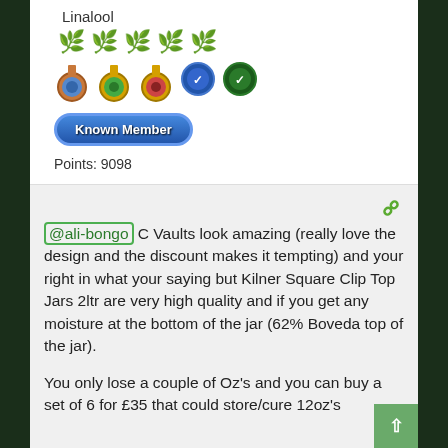Linalool
[Figure (illustration): Five green cannabis leaf star rating icons in a row]
[Figure (illustration): Five badge/medal icons in a row: bronze with blue gem, gold with green gem, gold with red gem, blue circle with check, dark green circle with check]
[Figure (illustration): Blue oval button with text 'Known Member' in bold white with dark outline]
Points: 9098
[Figure (illustration): Green chain/link icon in upper right of post section]
@ali-bongo C Vaults look amazing (really love the design and the discount makes it tempting) and your right in what your saying but Kilner Square Clip Top Jars 2ltr are very high quality and if you get any moisture at the bottom of the jar (62% Boveda top of the jar).
You only lose a couple of Oz's and you can buy a set of 6 for £35 that could store/cure 12oz's